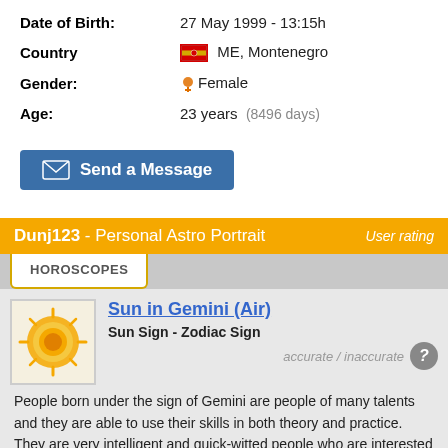Date of Birth: 27 May 1999 - 13:15h
Country: ME, Montenegro
Gender: Female
Age: 23 years (8496 days)
[Figure (other): Send a Message button]
Dunj123 - Personal Astro Portrait
User rating
HOROSCOPES
Sun in Gemini (Air)
Sun Sign - Zodiac Sign
accurate / inaccurate
People born under the sign of Gemini are people of many talents and they are able to use their skills in both theory and practice. They are very intelligent and quick-witted people who are interested in everything that happen around them, and they can quickly adapt to any new situation. -»